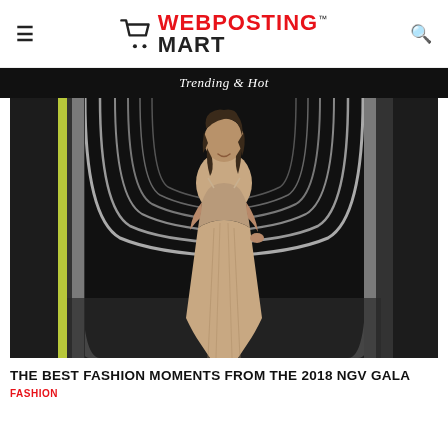WEBPOSTING MART
Trending & Hot
[Figure (photo): Woman in a flowing beige/rose evening gown standing in a dark architectural corridor with repeating arch shapes, smiling at camera. Fashion event photography.]
THE BEST FASHION MOMENTS FROM THE 2018 NGV GALA
FASHION